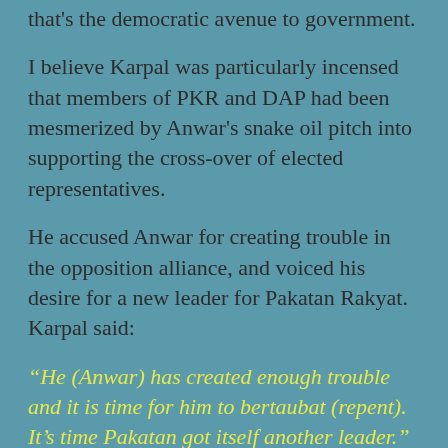that's the democratic avenue to government.
I believe Karpal was particularly incensed that members of PKR and DAP had been mesmerized by Anwar's snake oil pitch into supporting the cross-over of elected representatives.
He accused Anwar for creating trouble in the opposition alliance, and voiced his desire for a new leader for Pakatan Rakyat. Karpal said:
“He (Anwar) has created enough trouble and it is time for him to bertaubat (repent). It’s time Pakatan got itself another leader.”
wakakaka.